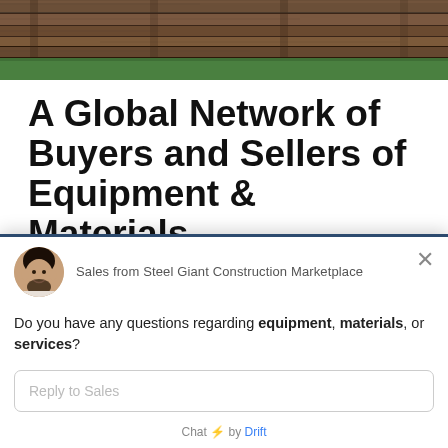[Figure (photo): Top portion of a photo showing stacked wooden railroad ties or timber beams with green grass/vegetation visible at the bottom]
A Global Network of Buyers and Sellers of Equipment & Materials.
Do you have any questions regarding equipment, materials, or services?
Sales from Steel Giant Construction Marketplace
Reply to Sales
Chat ⚡ by Drift